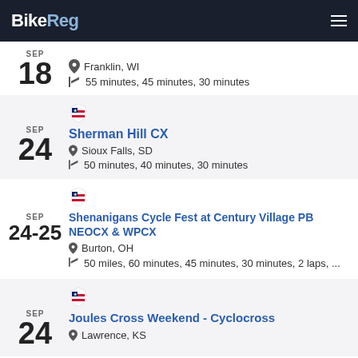BikeReg
SEP 18 | Franklin, WI | 55 minutes, 45 minutes, 30 minutes
Sherman Hill CX | SEP 24 | Sioux Falls, SD | 50 minutes, 40 minutes, 30 minutes
Shenanigans Cycle Fest at Century Village PB NEOCX & WPCX | SEP 24-25 | Burton, OH | 50 miles, 60 minutes, 45 minutes, 30 minutes, 2 laps, ...
Joules Cross Weekend - Cyclocross | SEP 24 | Lawrence, KS